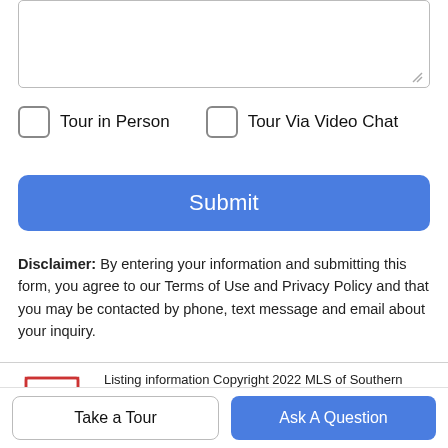[Figure (screenshot): Text area input box (empty, with resize handle)]
Tour in Person
Tour Via Video Chat
Submit
Disclaimer: By entering your information and submitting this form, you agree to our Terms of Use and Privacy Policy and that you may be contacted by phone, text message and email about your inquiry.
[Figure (logo): MLSSAZ IDX logo - MLS of Southern Arizona]
Listing information Copyright 2022 MLS of Southern Arizona. All Rights Reserved. Data last updated: 2022-08-20T17:06:42.03. The data relating to real estate listings on this website comes in part from the Internet Data Exchange (IDX) program of Multiple Listing Service of
Take a Tour
Ask A Question